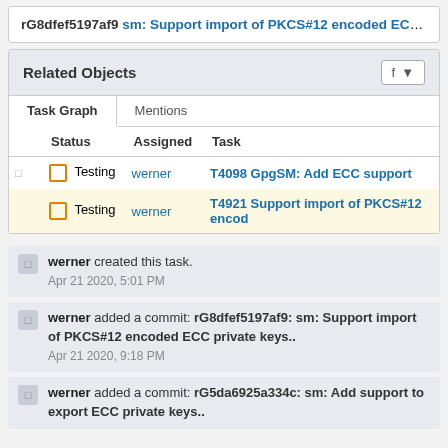rG8dfef5197af9 sm: Support import of PKCS#12 encoded ECC ...
Related Objects
| Status | Assigned | Task |
| --- | --- | --- |
| Testing | werner | T4098 GpgSM: Add ECC support |
| Testing | werner | T4921 Support import of PKCS#12 encod |
werner created this task.
Apr 21 2020, 5:01 PM
werner added a commit: rG8dfef5197af9: sm: Support import of PKCS#12 encoded ECC private keys..
Apr 21 2020, 9:18 PM
werner added a commit: rG5da6925a334c: sm: Add support to export ECC private keys..